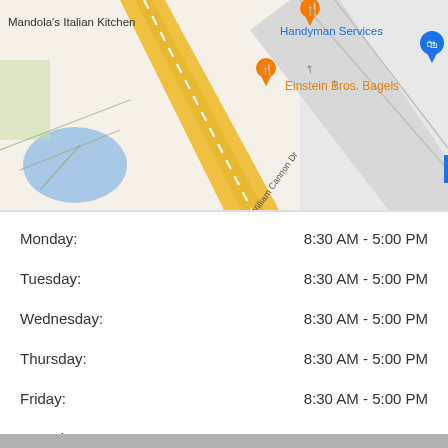[Figure (map): Google Maps view showing Mandola's Italian Kitchen, Einstein Bros. Bagels, CVS, Handyman Services, and W William Cannon Dr road. Map shows roads, a yellow highway, blue water feature, and map pins.]
| Day | Hours |
| --- | --- |
| Monday: | 8:30 AM - 5:00 PM |
| Tuesday: | 8:30 AM - 5:00 PM |
| Wednesday: | 8:30 AM - 5:00 PM |
| Thursday: | 8:30 AM - 5:00 PM |
| Friday: | 8:30 AM - 5:00 PM |
| Saturday: | 7:30 AM - 2:00 PM |
| Sunday: | Closed |